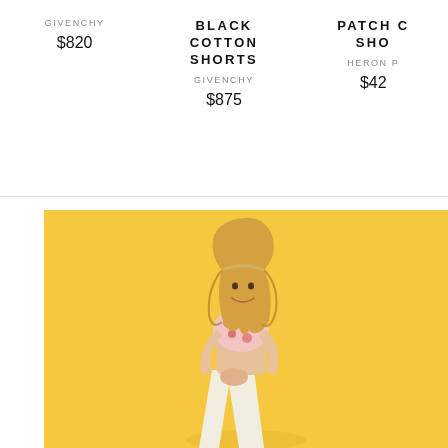GIVENCHY
$820
BLACK COTTON SHORTS
GIVENCHY
$875
PATCH C... SHO...
HERON P...
$42...
[Figure (photo): Woman with long blonde hair wearing a floral top and white wide-leg pants, posed on a warm yellow background, leaning forward with hands clasped]